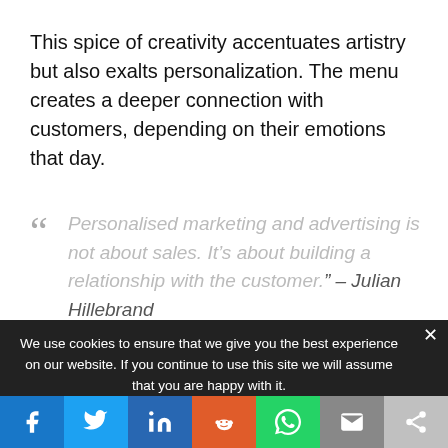This spice of creativity accentuates artistry but also exalts personalization. The menu creates a deeper connection with customers, depending on their emotions that day.
“ Personalised marketing and advertising is not about sales. It’s about building a relationship with the customer.” – Julian Hillebrand
We use cookies to ensure that we give you the best experience on our website. If you continue to use this site we will assume that you are happy with it.